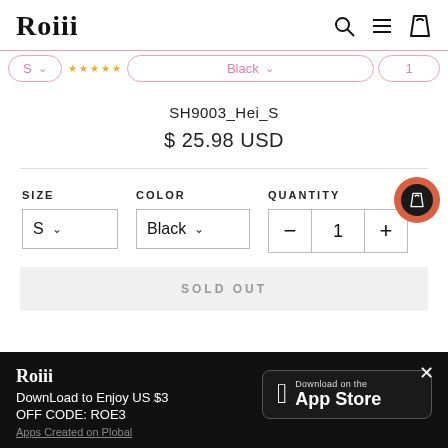Roiii
S | Black | 1
SH9003_Hei_S
$ 25.98 USD
SIZE  COLOR  QUANTITY
S ∨  Black ∨  - 1 +
SOLD OUT
Roiii
DownLoad to Enjoy US $3
OFF CODE: ROE3
Apps Created on Plobal
[Figure (screenshot): App Store download badge for Apple iOS]